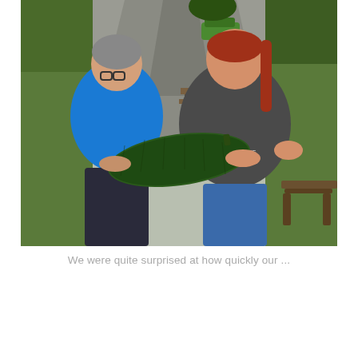[Figure (photo): Two women standing outdoors on a driveway, both holding a very large dark green courgette/marrow together. The woman on the left wears glasses and a bright blue top with dark trousers. The woman on the right has red braided hair and wears a dark grey Peaky Blinders t-shirt with blue trousers. There is a grassy area, trees, a picnic bench, and a green car visible in the background.]
We were quite surprised at how quickly our ...